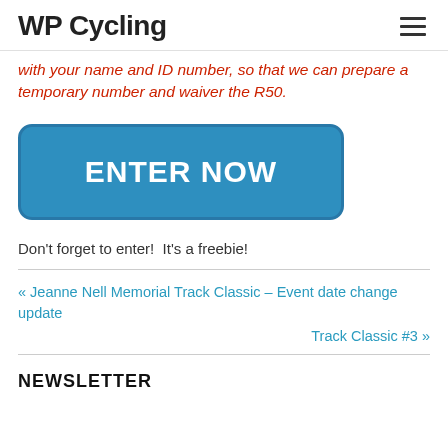WP Cycling
with your name and ID number, so that we can prepare a temporary number and waiver the R50.
[Figure (other): Blue rounded rectangle button with text ENTER NOW in white bold letters]
Don't forget to enter!  It's a freebie!
« Jeanne Nell Memorial Track Classic – Event date change update
Track Classic #3 »
NEWSLETTER